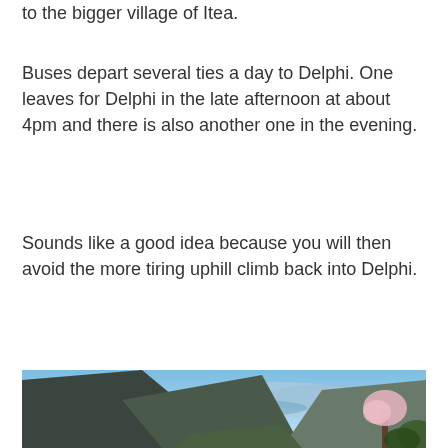to the bigger village of Itea.
Buses depart several ties a day to Delphi. One leaves for Delphi in the late afternoon at about 4pm and there is also another one in the evening.
Sounds like a good idea because you will then avoid the more tiring uphill climb back into Delphi.
[Figure (photo): Panoramic landscape photo showing a mountain valley with steep dark hillsides, a body of water visible in the distance, blue sky, and a flowering tree in the right foreground.]